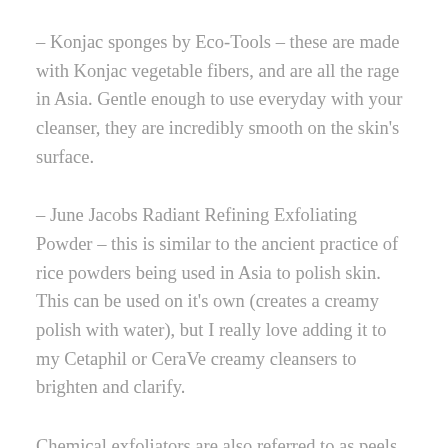– Konjac sponges by Eco-Tools – these are made with Konjac vegetable fibers, and are all the rage in Asia. Gentle enough to use everyday with your cleanser, they are incredibly smooth on the skin's surface.
– June Jacobs Radiant Refining Exfoliating Powder – this is similar to the ancient practice of rice powders being used in Asia to polish skin. This can be used on it's own (creates a creamy polish with water), but I really love adding it to my Cetaphil or CeraVe creamy cleansers to brighten and clarify.
Chemical exfoliators are also referred to as peels, serums and solutions. These products rely mostly on alpha or beta-hydroxy acids (glycolic, salicylic, etc),